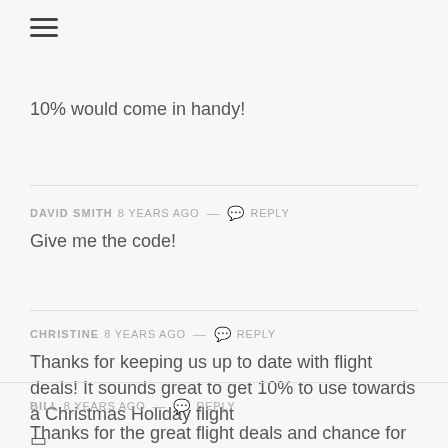≡
10% would come in handy!
DAVID SMITH 8 years ago — 💬 Reply
Give me the code!
CHRISTINE 8 years ago — 💬 Reply
Thanks for keeping us up to date with flight deals! It sounds great to get 10% to use towards a Christmas Holiday flight 🙂
BILL 8 years ago — 💬 Reply
Thanks for the great flight deals and chance for 10% off!